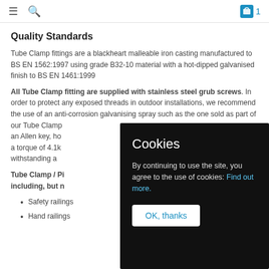≡  🔍   🛒 1
Quality Standards
Tube Clamp fittings are a blackheart malleable iron casting manufactured to BS EN 1562:1997 using grade B32-10 material with a hot-dipped galvanised finish to BS EN 1461:1999
All Tube Clamp fitting are supplied with stainless steel grub screws. In order to protect any exposed threads in outdoor installations, we recommend the use of an anti-corrosion galvanising spray such as the one sold as part of our Tube Clamp [accessories range. The grub screws require] an Allen key, ho[wever we recommend tightening them to] a torque of 4.1k[Nm (3ft/lbs). This ensures the tube is] withstanding a[dequate load without over-tightening.]
Tube Clamp / Pi[pe and Tube Clamp fittings are suitable for use] including, but n[ot limited to:]
Safety railings
Hand railings
Cookies
By continuing to use the site, you agree to the use of cookies: Find out more.
OK, thanks